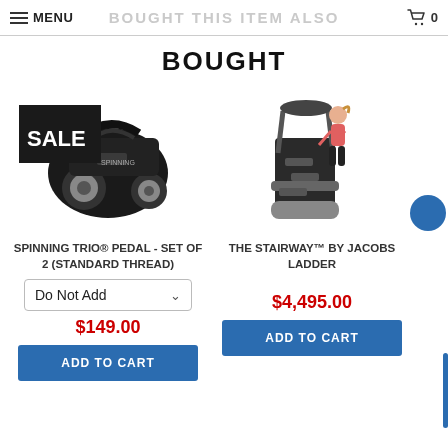MENU  BOUGHT THIS ITEM ALSO  0
BOUGHT
[Figure (photo): Spinning pedal product image with SALE badge overlay]
SPINNING TRIO® PEDAL - SET OF 2 (STANDARD THREAD)
Do Not Add
$149.00
ADD TO CART
[Figure (photo): The Stairway by Jacobs Ladder exercise machine with woman using it]
THE STAIRWAY™ BY JACOBS LADDER
$4,495.00
ADD TO CART